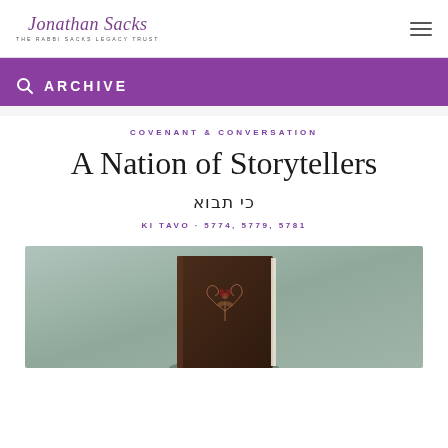Jonathan Sacks · THE RABBI SACKS LEGACY TRUST
ARCHIVE
COVENANT & CONVERSATION
A Nation of Storytellers
כי תבוא
KI TAVO · 5774, 5779, 5781
[Figure (photo): A dark brown leather-bound book with decorative floral embossed design on the cover, set against a muted teal/grey textured background.]